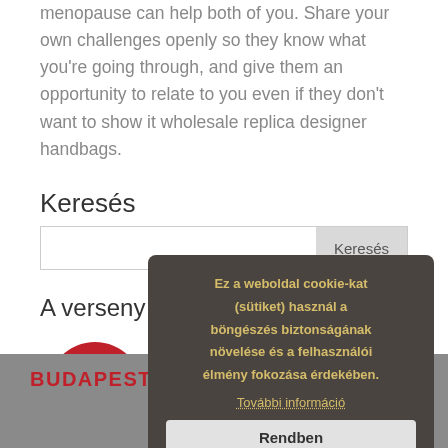menopause can help both of you. Share your own challenges openly so they know what you're going through, and give them an opportunity to relate to you even if they don't want to show it wholesale replica designer handbags.
Keresés
A verseny támogatói
[Figure (logo): Budapest Bank logo — red circle with white '8' monogram]
BUDAPEST BANK
Ez a weboldal cookie-kat (sütiket) használ a böngészés biztonságának növelése és a felhasználói élmény fokozása érdekében. További információ Rendben
Share This ×